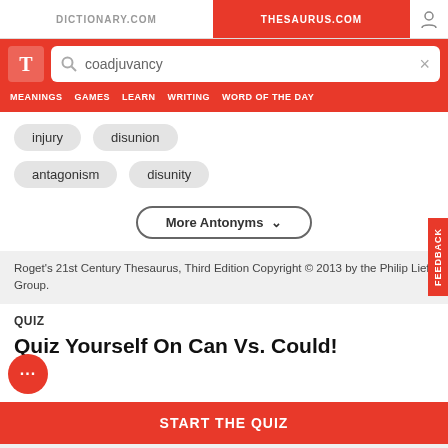DICTIONARY.COM | THESAURUS.COM
[Figure (screenshot): Thesaurus.com logo with search bar containing 'coadjuvancy']
MEANINGS  GAMES  LEARN  WRITING  WORD OF THE DAY
injury
disunion
antagonism
disunity
More Antonyms ▾
Roget's 21st Century Thesaurus, Third Edition Copyright © 2013 by the Philip Lief Group.
QUIZ
Quiz Yourself On Can Vs. Could!
START THE QUIZ